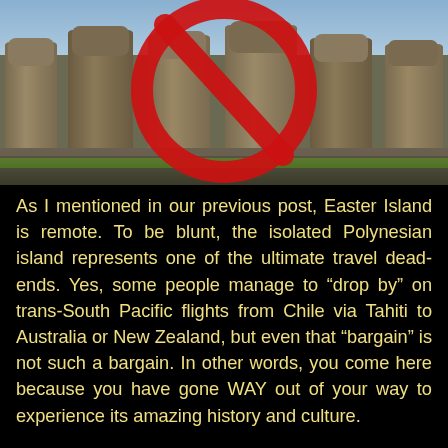[Figure (photo): Photo of Easter Island stone statues (moai) with a large red prohibition/no symbol overlaid on top of them. The moai stand on a stone platform with green grass and a blue sky visible.]
As I mentioned in our previous post, Easter Island is remote. To be blunt, the isolated Polynesian island represents one of the ultimate travel dead-ends. Yes, some people manage to “drop by” on trans-South Pacific flights from Chile via Tahiti to Australia or New Zealand, but even that “bargain” is not such a bargain. In other words, you come here because you have gone WAY out of your way to experience its amazing history and culture.